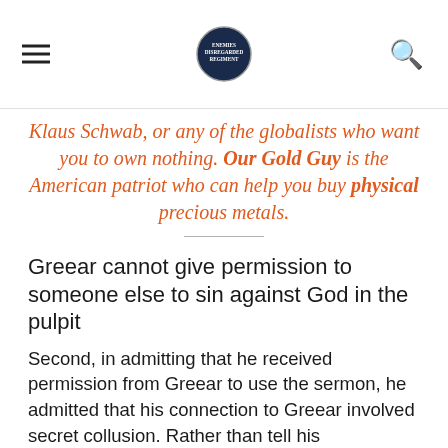[Site logo and navigation bar]
Klaus Schwab, or any of the globalists who want you to own nothing. Our Gold Guy is the American patriot who can help you buy physical precious metals.
Greear cannot give permission to someone else to sin against God in the pulpit
Second, in admitting that he received permission from Greear to use the sermon, he admitted that his connection to Greear involved secret collusion. Rather than tell his congregation about the source of what he was preaching, he kept that hidden.